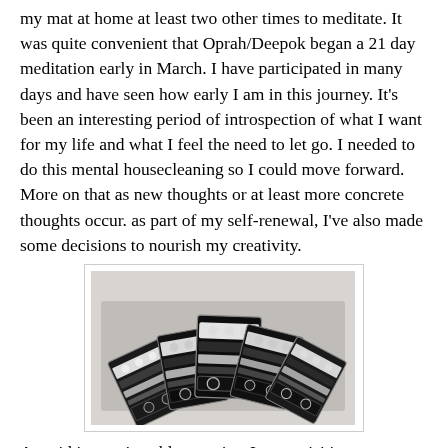my mat at home at least two other times to meditate. It was quite convenient that Oprah/Deepok began a 21 day meditation early in March. I have participated in many days and have seen how early I am in this journey. It's been an interesting period of introspection of what I want for my life and what I feel the need to let go. I needed to do this mental housecleaning so I could move forward. More on that as new thoughts or at least more concrete thoughts occur. as part of my self-renewal, I've also made some decisions to nourish my creativity.
[Figure (photo): Five decorative embroidered or beaded textile brooches/pins arranged in a fan-like display against a light gray background. The pieces are black and white with intricate patterns.]
As said in previous blog entries, I am revisiting my roots in the needlearts and am excited to be taking my first online class in surface embroidery given by Australian Sharon B in June. Summer is usually a slower time for me and so far I